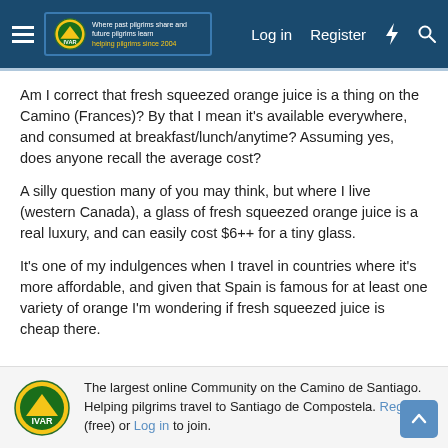Log in  Register
Am I correct that fresh squeezed orange juice is a thing on the Camino (Frances)? By that I mean it's available everywhere, and consumed at breakfast/lunch/anytime? Assuming yes, does anyone recall the average cost?
A silly question many of you may think, but where I live (western Canada), a glass of fresh squeezed orange juice is a real luxury, and can easily cost $6++ for a tiny glass.
It's one of my indulgences when I travel in countries where it's more affordable, and given that Spain is famous for at least one variety of orange I'm wondering if fresh squeezed juice is cheap there.
The largest online Community on the Camino de Santiago. Helping pilgrims travel to Santiago de Compostela. Register (free) or Log in to join.